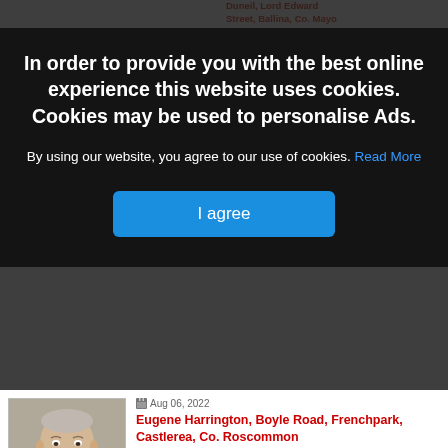[Figure (screenshot): Cookie consent modal overlay on a news/obituary website. Modal shows bold white text asking users to accept cookies, with a blue 'I agree' button. Behind the modal, partially visible obituary listings are shown.]
In order to provide you with the best online experience this website uses cookies. Cookies may be used to personalise Ads.
By using our website, you agree to our use of cookies. Read More
I agree
Aug 06, 2022
Eugene Harrington, Boyle Road, Frenchpark, Castlerea, Co. Roscommon
Eugene Harrington,

Boyle Road, Frenchpark, Castlerea, Co. Roscommon - peacefully, with…
Aug 06, 2022
Micheál Bourke, Heathfield, Ballycastle
Micheál Bourke